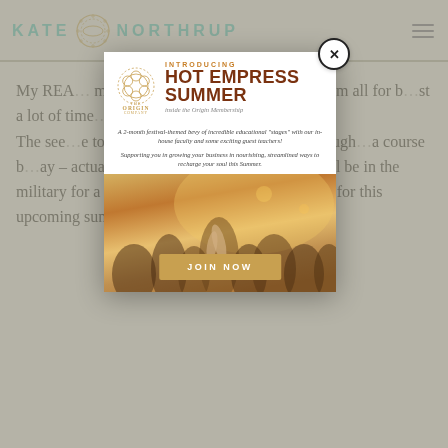KATE NORTHRUP
My REA... financial... even possible... I am all for b... just a lot of time... The see... to find wa... invest, I have be... p through... a course b... ay – actually... yfriends company while he will be in the military for a year and the biggest step for myself for this upcoming summer is – to find different kind of
[Figure (other): Popup modal advertisement for 'Hot Empress Summer inside the Origin Membership'. Contains The Origin Company logo, title text 'INTRODUCING HOT EMPRESS SUMMER inside the Origin Membership', descriptive text about a 2-month festival-themed program, a background photo of a festival crowd, and a 'JOIN NOW' button. A close (X) button appears in the top-right corner of the modal.]